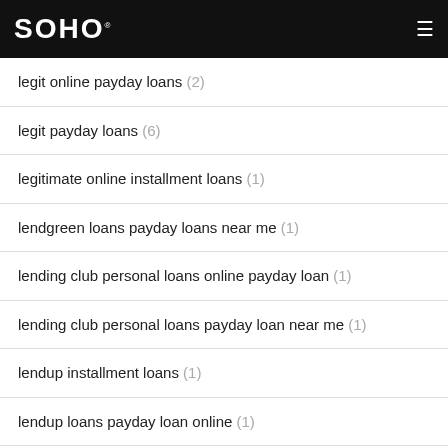SOHO
legit online payday loans (2)
legit payday loans (6)
legitimate online installment loans (1)
lendgreen loans payday loans near me (1)
lending club personal loans online payday loan (1)
lending club personal loans payday loan near me (1)
lendup installment loans (1)
lendup loans payday loan online (1)
lesarionsinglehorse de Anmelden (1)